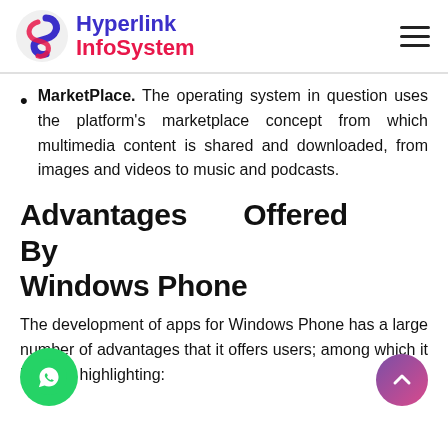Hyperlink InfoSystem
MarketPlace. The operating system in question uses the platform's marketplace concept from which multimedia content is shared and downloaded, from images and videos to music and podcasts.
Advantages Offered By Windows Phone
The development of apps for Windows Phone has a large number of advantages that it offers users; among which it is worth highlighting: